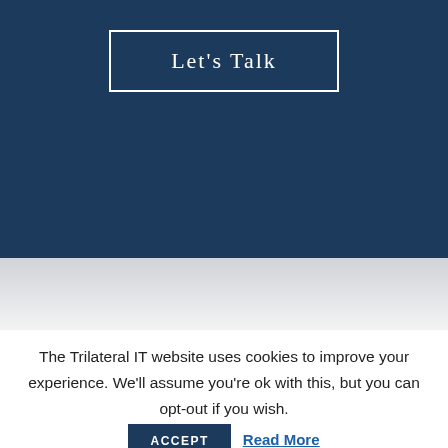Let's Talk
SOME OF OUR EXISTING CLIENTS
The Trilateral IT website uses cookies to improve your experience. We'll assume you're ok with this, but you can opt-out if you wish.
ACCEPT
Read More